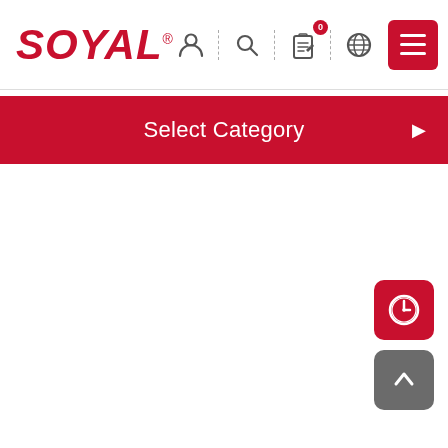SOYAL
Select Category
[Figure (screenshot): Red floating clock/timer button icon, bottom right]
[Figure (screenshot): Gray scroll-to-top arrow button, bottom right]